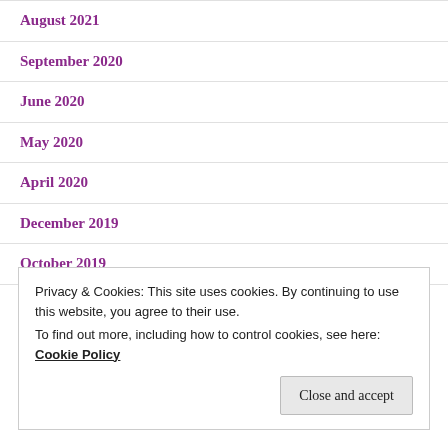August 2021
September 2020
June 2020
May 2020
April 2020
December 2019
October 2019
July 2019
Privacy & Cookies: This site uses cookies. By continuing to use this website, you agree to their use.
To find out more, including how to control cookies, see here: Cookie Policy